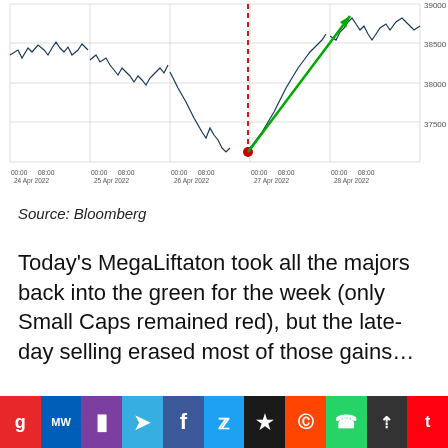[Figure (continuous-plot): Stock index candlestick/line chart showing price movement from 24 Apr 2022 to 28 Apr 2022, with y-axis ranging approximately 37500–39000. A red dashed vertical line and red dot mark a low around 26 Apr 2022 ~37800, then a green diagonal arrow/line shows recovery upward through 27–28 Apr 2022 toward 39000.]
Source: Bloomberg
Today's MegaLiftaton took all the majors back into the green for the week (only Small Caps remained red), but the late-day selling erased most of those gains…